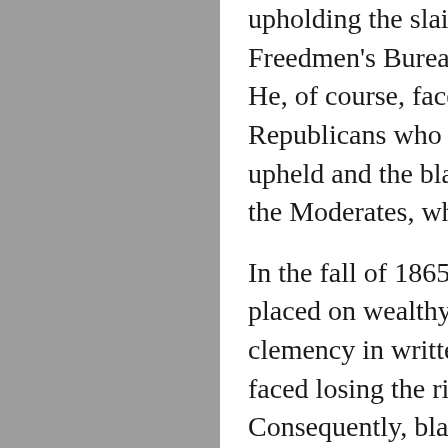upholding the slain President's re- Freedmen's Bureau, but in favor He, of course, faced opposition Republicans who wanted rights fo upheld and the black man's right the Moderates, who wanted limited
In the fall of 1865, Andrew John placed on wealthy Confederate clemency in written letters address faced losing the right to vote, ho Consequently, blacks who had ta forced into surrendering the land, with conditions much like slavery work a portion of the land and season with his yields, often leavi situation.
In March of 1866, with the aid man" Democrats, the Civil Righ Johnson's veto, who, outwardly h the increasing violence in the sout in the House, in March of 1867, t veto and blacks had the rights a Codes were eliminated. However,